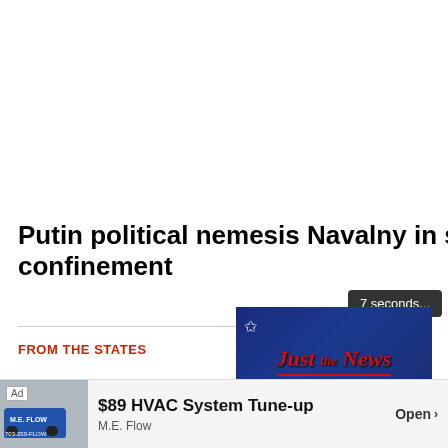Putin political nemesis Navalny in solitary confinement
FROM THE STATES
[Figure (screenshot): Video player showing 'Just the News Not Noise' logo on dark blue background with playback controls and a '7 seconds...' countdown tooltip]
[Figure (screenshot): Advertisement banner: '$89 HVAC System Tune-up' by M.E. Flow with truck image, Ad label, and Open button]